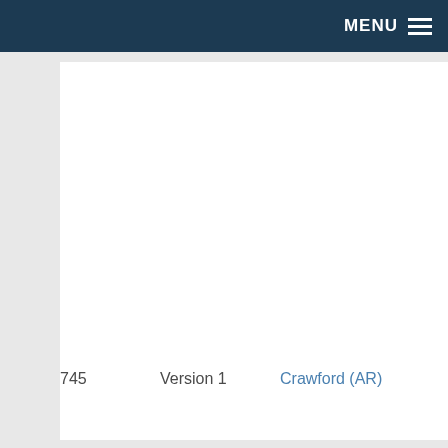MENU
745   Version 1   Crawford (AR)   Republic...